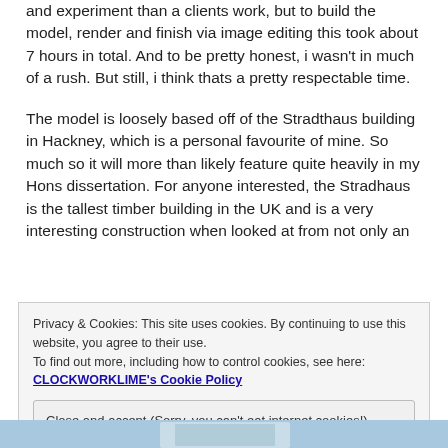and experiment than a clients work, but to build the model, render and finish via image editing this took about 7 hours in total. And to be pretty honest, i wasn't in much of a rush. But still, i think thats a pretty respectable time.
The model is loosely based off of the Stradthaus building in Hackney, which is a personal favourite of mine. So much so it will more than likely feature quite heavily in my Hons dissertation. For anyone interested, the Stradhaus is the tallest timber building in the UK and is a very interesting construction when looked at from not only an
Privacy & Cookies: This site uses cookies. By continuing to use this website, you agree to their use.
To find out more, including how to control cookies, see here:
CLOCKWORKLIME's Cookie Policy
Close and accept (Sorry, you can't eat internet cookies!)
[Figure (photo): Bottom strip showing sky/blue background, partial image of a building or object]